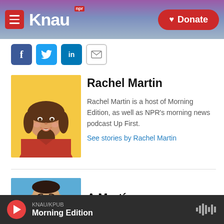KNAU NPR — Donate
[Figure (screenshot): Social sharing icons: Facebook (blue), Twitter (blue), LinkedIn (blue), Email (white/gray border)]
[Figure (photo): Rachel Martin headshot on yellow background, woman smiling in red top]
Rachel Martin
Rachel Martin is a host of Morning Edition, as well as NPR's morning news podcast Up First.
See stories by Rachel Martin
[Figure (photo): A Martínez headshot on blue background, man in dark suit]
A Martínez
KNAU/KPUB — Morning Edition